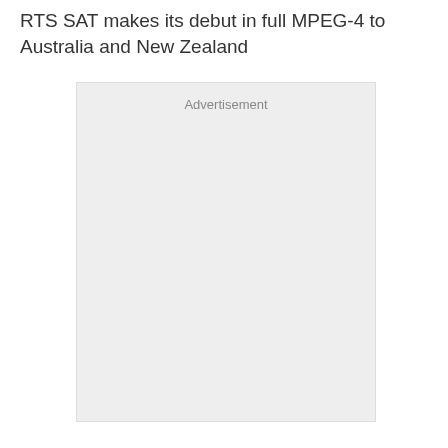RTS SAT makes its debut in full MPEG-4 to Australia and New Zealand
[Figure (other): Advertisement placeholder box with light grey background and 'Advertisement' label at the top center]